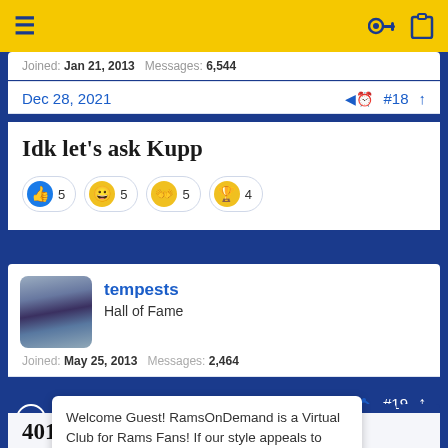≡  [key icon] [clipboard icon]
Joined: Jan 21, 2013  Messages: 6,544
Dec 28, 2021  #18
Idk let's ask Kupp
👍 5  😄 5  👋 5  🏆 4
tempests
Hall of Fame
Joined: May 25, 2013  Messages: 2,464
#19
Welcome Guest! RamsOnDemand is a Virtual Club for Rams Fans! If our style appeals to you: Join the Conversation as a Member!
4014 passing yards (13th in NFL)